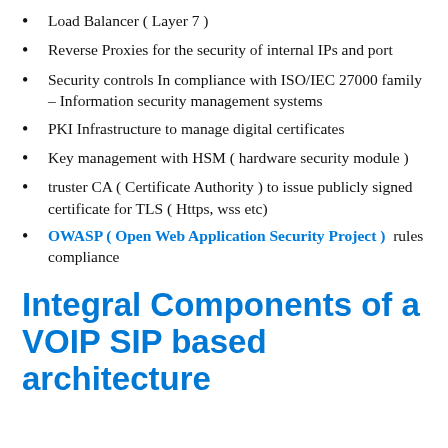Load Balancer ( Layer 7 )
Reverse Proxies for the security of internal IPs and port
Security controls In compliance with ISO/IEC 27000 family – Information security management systems
PKI Infrastructure to manage digital certificates
Key management with HSM ( hardware security module )
truster CA ( Certificate Authority ) to issue publicly signed certificate for TLS ( Https, wss etc)
OWASP ( Open Web Application Security Project )  rules compliance
Integral Components of a VOIP SIP based architecture